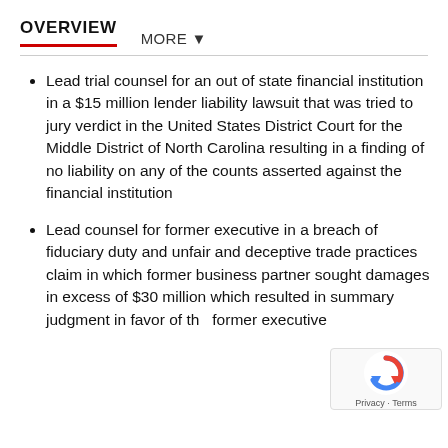OVERVIEW   MORE ▼
Lead trial counsel for an out of state financial institution in a $15 million lender liability lawsuit that was tried to jury verdict in the United States District Court for the Middle District of North Carolina resulting in a finding of no liability on any of the counts asserted against the financial institution
Lead counsel for former executive in a breach of fiduciary duty and unfair and deceptive trade practices claim in which former business partner sought damages in excess of $30 million which resulted in summary judgment in favor of the former executive